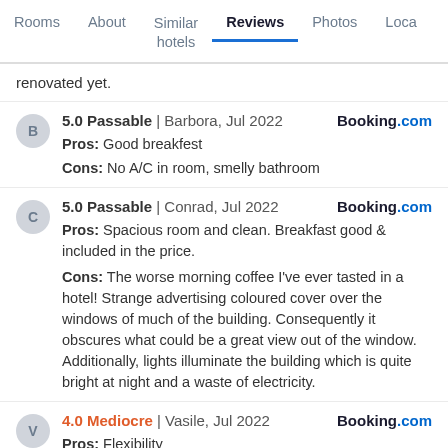Rooms | About | Similar hotels | Reviews | Photos | Loca
renovated yet.
5.0 Passable | Barbora, Jul 2022 | Booking.com
Pros: Good breakfest
Cons: No A/C in room, smelly bathroom
5.0 Passable | Conrad, Jul 2022 | Booking.com
Pros: Spacious room and clean. Breakfast good & included in the price.
Cons: The worse morning coffee I've ever tasted in a hotel! Strange advertising coloured cover over the windows of much of the building. Consequently it obscures what could be a great view out of the window. Additionally, lights illuminate the building which is quite bright at night and a waste of electricity.
4.0 Mediocre | Vasile, Jul 2022 | Booking.com
Pros: Flexibility
Cons: Economic room it's must be by default No. It's like